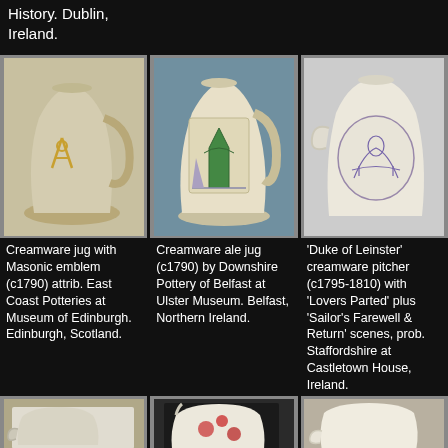History. Dublin, Ireland.
[Figure (photo): Creamware jug with Masonic emblem, c1790, attributed to East Coast Potteries]
[Figure (photo): Creamware ale jug c1790 by Downshire Pottery of Belfast]
[Figure (photo): Duke of Leinster creamware pitcher c1795-1810 with Lovers Parted plus Sailor Farewell and Return scenes]
Creamware jug with Masonic emblem (c1790) attrib. East Coast Potteries at Museum of Edinburgh. Edinburgh, Scotland.
Creamware ale jug (c1790) by Downshire Pottery of Belfast at Ulster Museum. Belfast, Northern Ireland.
'Duke of Leinster' creamware pitcher (c1795-1810) with 'Lovers Parted' plus 'Sailor's Farewell & Return' scenes, prob. Staffordshire at Castletown House, Ireland.
[Figure (photo): Ceramic jug with printed scene, bottom row left]
[Figure (photo): Ceramic jug with red floral pattern, bottom row center]
[Figure (photo): Ceramic jug plain creamware, bottom row right]